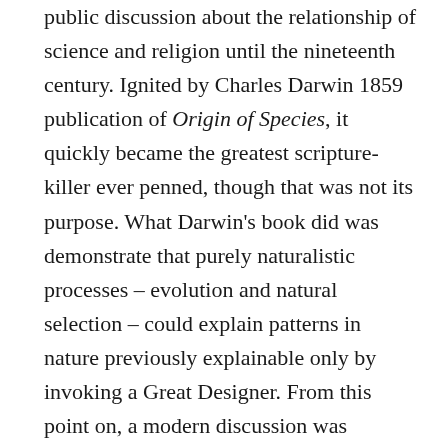public discussion about the relationship of science and religion until the nineteenth century. Ignited by Charles Darwin 1859 publication of Origin of Species, it quickly became the greatest scripture-killer ever penned, though that was not its purpose. What Darwin's book did was demonstrate that purely naturalistic processes – evolution and natural selection – could explain patterns in nature previously explainable only by invoking a Great Designer. From this point on, a modern discussion was launched that highlighted a war between faith and science.
The purpose of this essay is to defend the claim